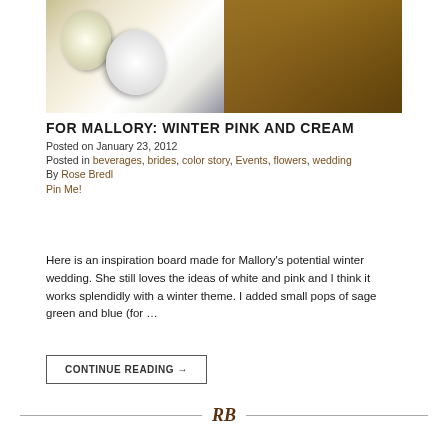[Figure (photo): Two wedding photos side by side: left shows a bridal bouquet with white roses, calla lilies, and anemones; right shows a warmly lit barn wedding venue interior.]
FOR MALLORY: WINTER PINK AND CREAM
Posted on January 23, 2012
Posted in beverages, brides, color story, Events, flowers, wedding
By Rose Bredl
Pin Me!
Here is an inspiration board made for Mallory's potential winter wedding. She still loves the ideas of white and pink and I think it works splendidly with a winter theme. I added small pops of sage green and blue (for …
CONTINUE READING →
RB